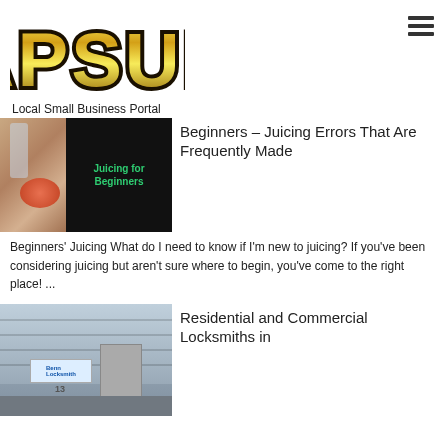[Figure (logo): CAPSURE logo in gold bubble letters with dark outline]
Local Small Business Portal
[Figure (photo): Juicing for Beginners thumbnail - left side shows fruits and a glass, right side dark background with green text 'Juicing for Beginners']
Beginners – Juicing Errors That Are Frequently Made
Beginners' Juicing What do I need to know if I'm new to juicing? If you've been considering juicing but aren't sure where to begin, you've come to the right place! ...
[Figure (photo): Exterior photo of a commercial building with Benn Locksmith sign, number 13 on door, industrial facade]
Residential and Commercial Locksmiths in